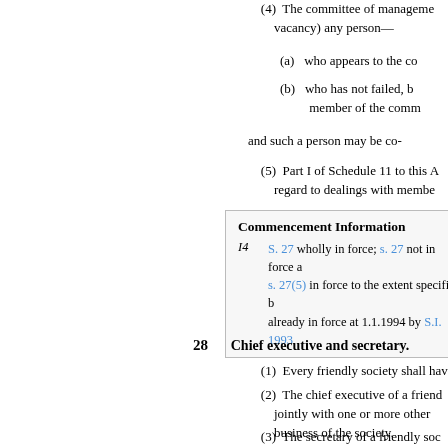(4)  The committee of management may co-opt (to fill a vacancy) any person—
(a)  who appears to the c...
(b)  who has not failed, being a member of the comm...
and such a person may be co-...
(5)  Part I of Schedule 11 to this Act... regard to dealings with membe...
Commencement Information
I4  S. 27 wholly in force; s. 27 not in force a... s. 27(5) in force to the extent specified b... already in force at 1.1.1994 by S.I. 1993...
28  Chief executive and secretary.
(1)  Every friendly society shall hav...
(2)  The chief executive of a friend... jointly with one or more other... business of the society.
(3)  The secretary of a friendly soc... elected to office in accordance...